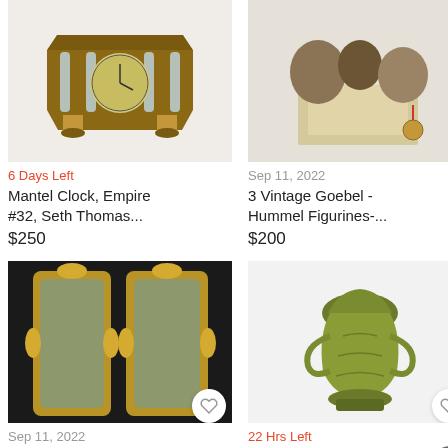[Figure (photo): Mantel clock with glass panels, Empire style]
6 Days Left
Mantel Clock, Empire #32, Seth Thomas...
$250
[Figure (photo): 3 vintage Goebel Hummel figurines with documents and medal]
Sep 11, 2022
3 Vintage Goebel - Hummel Figurines-...
$200
[Figure (photo): Pair of tall Italian ornate gold-framed mirrors]
Sep 11, 2022
Pair Of Tall Italian Carved D...
[Figure (photo): Majolica glazed pottery vase in green, art nouveau style]
22 Hrs Left
Majolica Glazed Pottery indicating A...